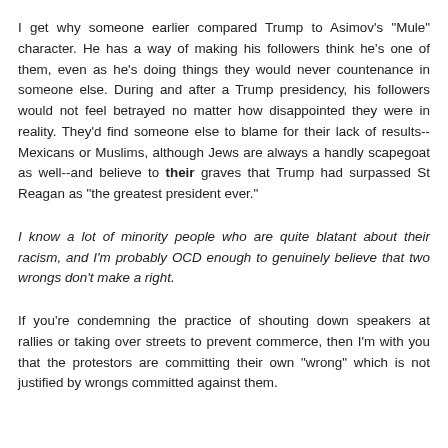I get why someone earlier compared Trump to Asimov's "Mule" character. He has a way of making his followers think he's one of them, even as he's doing things they would never countenance in someone else. During and after a Trump presidency, his followers would not feel betrayed no matter how disappointed they were in reality. They'd find someone else to blame for their lack of results--Mexicans or Muslims, although Jews are always a handly scapegoat as well--and believe to their graves that Trump had surpassed St Reagan as "the greatest president ever."
I know a lot of minority people who are quite blatant about their racism, and I'm probably OCD enough to genuinely believe that two wrongs don't make a right.
If you're condemning the practice of shouting down speakers at rallies or taking over streets to prevent commerce, then I'm with you that the protestors are committing their own "wrong" which is not justified by wrongs committed against them.